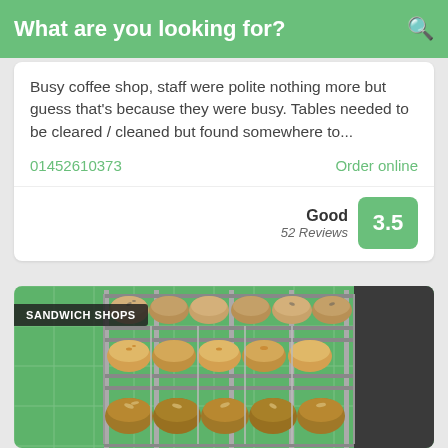What are you looking for?
Busy coffee shop, staff were polite nothing more but guess that's because they were busy. Tables needed to be cleared / cleaned but found somewhere to...
01452610373
Order online
Good
52 Reviews
3.5
[Figure (photo): Photo of bread rolls stacked on metal wire rack shelves in a bakery display, with a green background. Overlaid label reads SANDWICH SHOPS.]